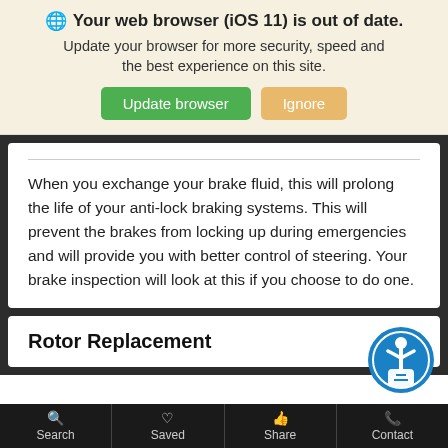🌐 Your web browser (iOS 11) is out of date. Update your browser for more security, speed and the best experience on this site.
When you exchange your brake fluid, this will prolong the life of your anti-lock braking systems. This will prevent the brakes from locking up during emergencies and will provide you with better control of steering. Your brake inspection will look at this if you choose to do one.
Rotor Replacement
Search  Saved  Share  Contact